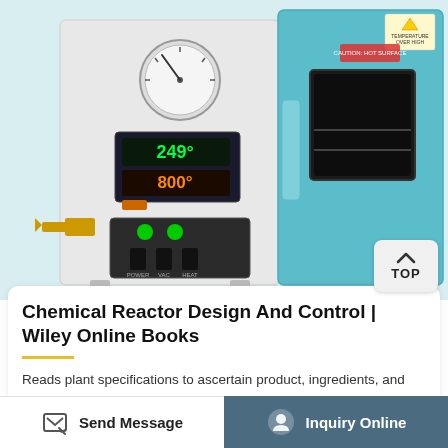[Figure (photo): Laboratory vacuum drying oven with teal/blue chamber door. Left panel shows pressure gauge, digital temperature controller displaying 249°C and 800°C, green indicator lights, toggle switches, and yellow brass valve fitting. Right side shows teal oven chamber with glass window and handle. Warning labels visible on top right.]
Chemical Reactor Design And Control | Wiley Online Books
Reads plant specifications to ascertain product, ingredients, and prescribed modifications of plant procedures. Starts automatic... Chemical reactors operate at high pressures.